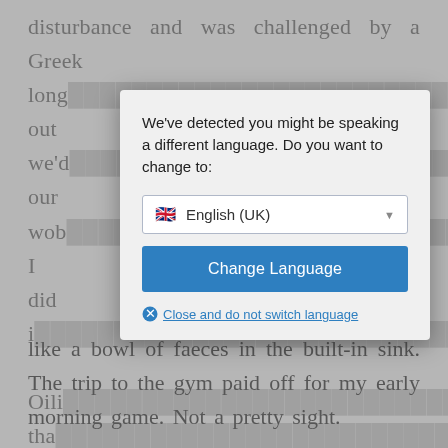disturbance and was challenged by a Greek long... out we'd... our wob... o? I did i...
[Figure (screenshot): Language detection modal dialog with message 'We've detected you might be speaking a different language. Do you want to change to:' followed by a dropdown showing 'English (UK)' with a Union Jack flag, a 'Change Language' blue button, and a 'Close and do not switch language' link with a red circle-x icon.]
like a bowl of faeces in the built-in sink. The trip to the gym paid off for my early morning game. Not a pretty sight.